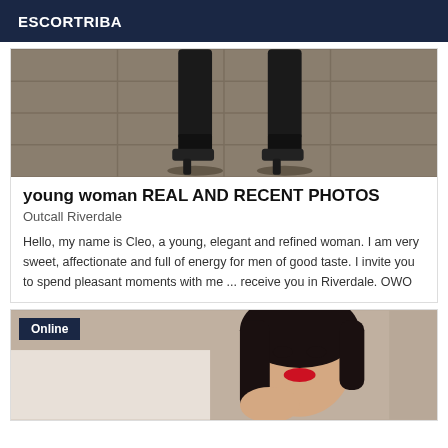ESCORTRIBA
[Figure (photo): Photo showing legs and feet wearing black high heel platform boots standing on a tiled floor]
young woman REAL AND RECENT PHOTOS
Outcall Riverdale
Hello, my name is Cleo, a young, elegant and refined woman. I am very sweet, affectionate and full of energy for men of good taste. I invite you to spend pleasant moments with me ... receive you in Riverdale. OWO
[Figure (photo): Photo of a young woman with dark hair and red lipstick, partially visible, with an 'Online' badge overlay]